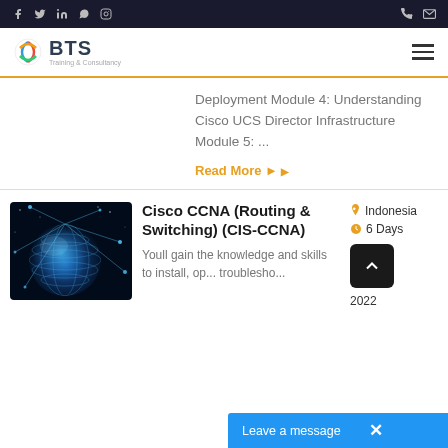BTS Training & Consultancy — social icons, phone, email, navigation bar
Deployment Module 4: Understanding Cisco UCS Director Infrastructure Module 5: ...
Read More
Cisco CCNA (Routing & Switching) (CIS-CCNA)
[Figure (photo): Blue glowing digital globe with network connections on dark background]
Indonesia
6 Days
2022
Youll gain the knowledge and skills to install, op... troublesho...